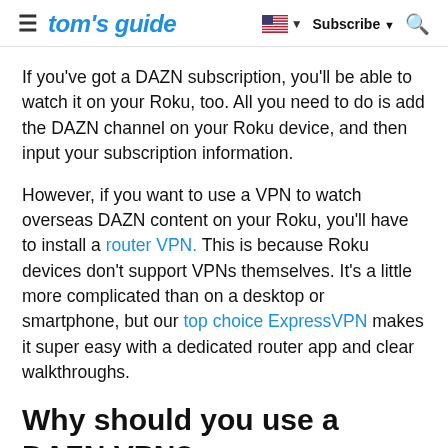tom's guide — Subscribe
If you've got a DAZN subscription, you'll be able to watch it on your Roku, too. All you need to do is add the DAZN channel on your Roku device, and then input your subscription information.
However, if you want to use a VPN to watch overseas DAZN content on your Roku, you'll have to install a router VPN. This is because Roku devices don't support VPNs themselves. It's a little more complicated than on a desktop or smartphone, but our top choice ExpressVPN makes it super easy with a dedicated router app and clear walkthroughs.
Why should you use a DAZN VPN?
The first and most important reason to use a VPN